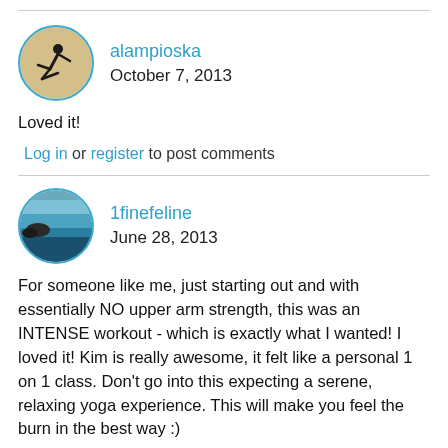[Figure (illustration): Circular avatar with yoga pose silhouette for user alampioska]
alampioska
October 7, 2013
Loved it!
Log in or register to post comments
[Figure (illustration): Circular avatar with ocean/seascape photo for user 1finefeline]
1finefeline
June 28, 2013
For someone like me, just starting out and with essentially NO upper arm strength, this was an INTENSE workout - which is exactly what I wanted! I loved it! Kim is really awesome, it felt like a personal 1 on 1 class. Don't go into this expecting a serene, relaxing yoga experience. This will make you feel the burn in the best way :)